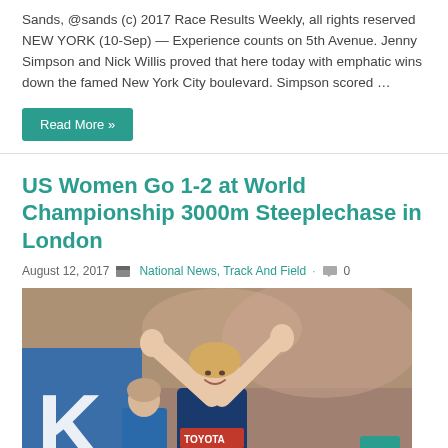Sands, @sands (c) 2017 Race Results Weekly, all rights reserved NEW YORK (10-Sep) — Experience counts on 5th Avenue. Jenny Simpson and Nick Willis proved that here today with emphatic wins down the famed New York City boulevard. Simpson scored …
Read More »
US Women Go 1-2 at World Championship 3000m Steeplechase in London
August 12, 2017   National News, Track And Field   0
[Figure (photo): A female athlete (Emma Coburn, name partially visible at bottom as COBURN) celebrating with both arms raised at the World Championship, wearing a blue USA uniform with TOYOTA branding on it. Another athlete visible behind her.]